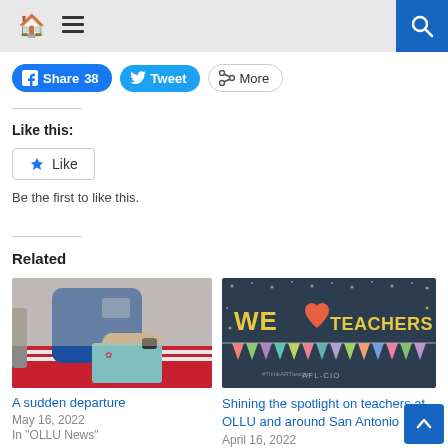Navigation bar with home icon, menu icon, and search button
Share 38  Tweet  More
Like this:
Like
Be the first to like this.
Related
[Figure (photo): Photo of person in blue OLLU polo shirt at a table with papers]
A sudden departure
May 16, 2022
In "OLLU News"
[Figure (photo): Dark teal graphic with text WE TEACHERS (heart icon) with colorful bunting flags, AFL-CIO]
Shining the spotlight on teachers at OLLU and around San Antonio
April 16, 2022